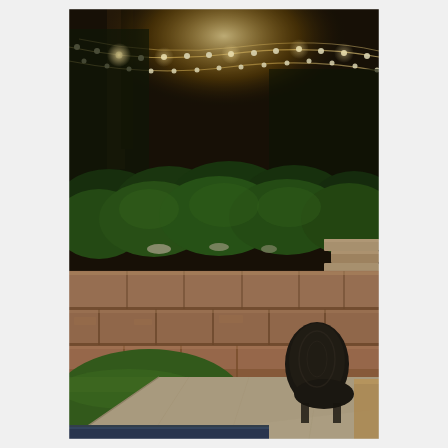[Figure (photo): Nighttime outdoor patio scene showing string lights strung between trees, lush green shrubs behind a multi-tiered stone retaining wall made of rectangular blocks, a concrete patio surface in the foreground with green lawn to the left, and a dark wicker chair on the right side of the patio near a wooden table.]